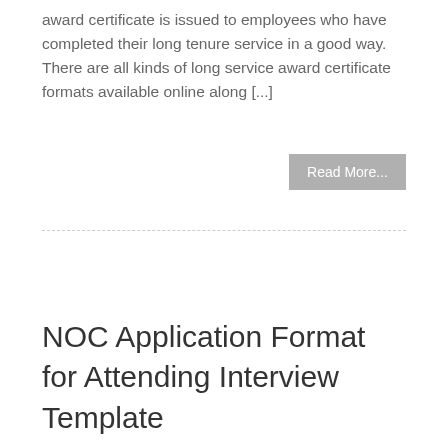award certificate is issued to employees who have completed their long tenure service in a good way. There are all kinds of long service award certificate formats available online along [...]
Read More...
NOC Application Format for Attending Interview Template